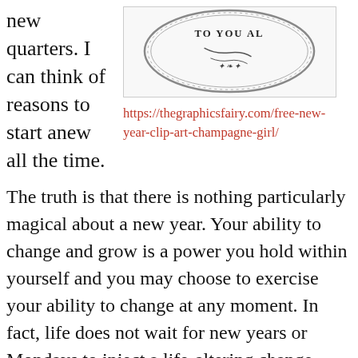new quarters. I can think of reasons to start anew all the time.
[Figure (illustration): Circular coin/medallion with decorative text reading 'DO YOU ALL' and ornate border design]
https://thegraphicsfairy.com/free-new-year-clip-art-champagne-girl/
The truth is that there is nothing particularly magical about a new year. Your ability to change and grow is a power you hold within yourself and you may choose to exercise your ability to change at any moment. In fact, life does not wait for new years or Mondays to inject a life-altering change. Change can happen to you in any moment. In line at the